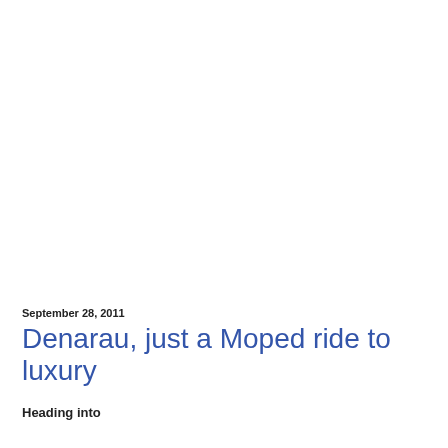September 28, 2011
Denarau, just a Moped ride to luxury
Heading into